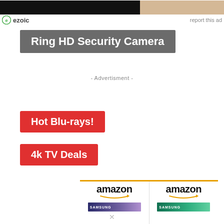[Figure (screenshot): Ad banner top strip with dark left portion and wood-texture right portion]
ezoic   report this ad
[Figure (screenshot): Ring HD Security Camera banner with grey background]
- Advertisment -
[Figure (screenshot): Hot Blu-rays! red button banner]
[Figure (screenshot): 4k TV Deals red button banner]
[Figure (screenshot): Two Amazon product panels side by side showing Samsung TV products]